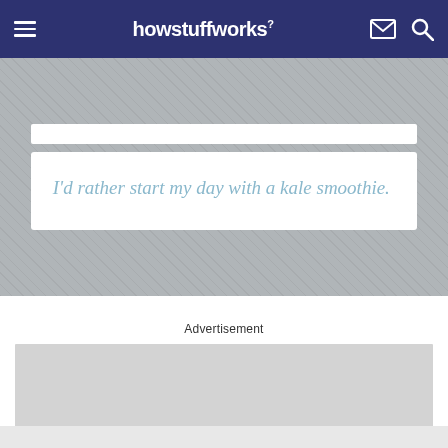howstuffworks
I'd rather start my day with a kale smoothie.
Advertisement
[Figure (other): Gray advertisement placeholder rectangle]